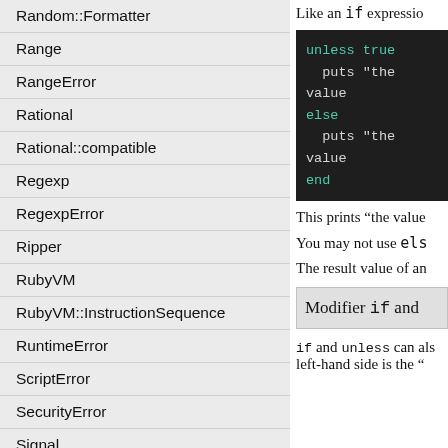Random::Formatter
Range
RangeError
Rational
Rational::compatible
Regexp
RegexpError
Ripper
RubyVM
RubyVM::InstructionSequence
RuntimeError
ScriptError
SecurityError
Signal
SignalException
SizedQueue
StandardError
StopIteration
String
Struct
Symbol
Like an if expression
[Figure (screenshot): Code block showing: unless true / puts "the value / else / puts "the value / end]
This prints “the value
You may not use els
The result value of an
Modifier if and
if and unless can als left-hand side is the “